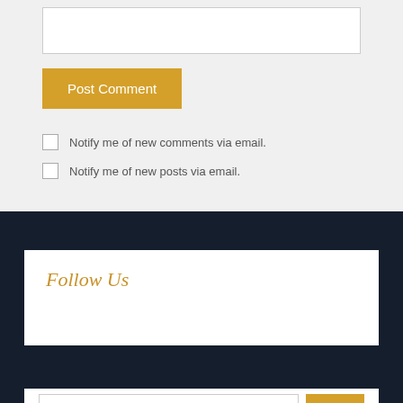[Figure (screenshot): Text input field (empty, white background with border)]
Post Comment
Notify me of new comments via email.
Notify me of new posts via email.
Follow Us
Search Here ...
Go